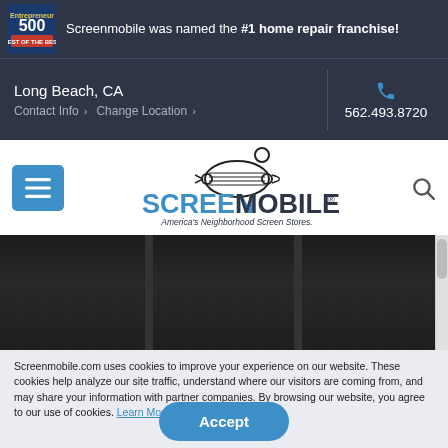Screenmobile was named the #1 home repair franchise!
Long Beach, CA
Contact Info  >  Change Location  >
562.493.8720
[Figure (logo): Screenmobile logo with screen icon and tagline 'America's Neighborhood Screen Stores.']
[Figure (photo): Photo of windows with dark screen mesh frames against a concrete/stone wall]
Screenmobile.com uses cookies to improve your experience on our website. These cookies help analyze our site traffic, understand where our visitors are coming from, and may share your information with partner companies. By browsing our website, you agree to our use of cookies. Learn More.
Accept